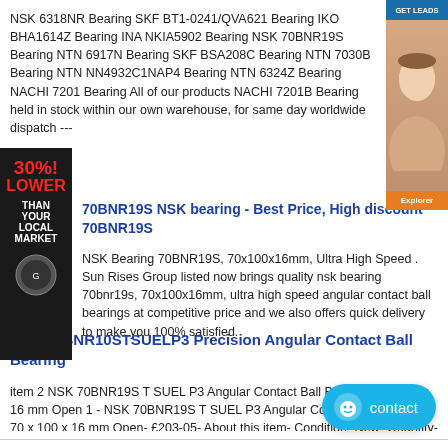NSK 6318NR Bearing SKF BT1-0241/QVA621 Bearing IKO BHA1614Z Bearing INA NKIA5902 Bearing NSK 70BNR19S Bearing NTN 6917N Bearing SKF BSA208C Bearing NTN 7030B Bearing NTN NN4932C1NAP4 Bearing NTN 6324Z Bearing NACHI 7201 Bearing All of our products NACHI 7201B Bearing held in stock within our own warehouse, for same day worldwide dispatch ---
[Figure (infographic): Red and black ad banner on left side reading 30% LOWER THAN YOUR LOCAL MARKET with a seal badge]
[Figure (photo): Advertisement banner on right side with a woman's face and an orange button]
70BNR19S NSK bearing - Best Price, High discount 70BNR19S
NSK Bearing 70BNR19S, 70x100x16mm, Ultra High Speed . Sun Rises Group listed now brings quality nsk bearing 70bnr19s, 70x100x16mm, ultra high speed angular contact ball bearings at competitive price and we also offers quick delivery to make you 100% satisfied.
NSK 65BNR10STSUELP3 Precision Angular Contact Ball Bearing
item 2 NSK 70BNR19S T SUEL P3 Angular Contact Ball Bearing 70 x 100 x 16 mm Open 1 - NSK 70BNR19S T SUEL P3 Angular Contact Ball Bearing 70 x 100 x 16 mm Open- £203-05- About this item- Condition- New- Quantity- 1 available- Brand- NSK- Lubrication- Standard Lubrication- MPN- 50BNR10STYNV1VSUELP3-
[Figure (infographic): Blue rounded contact button with smiley face icon and text 'contact']